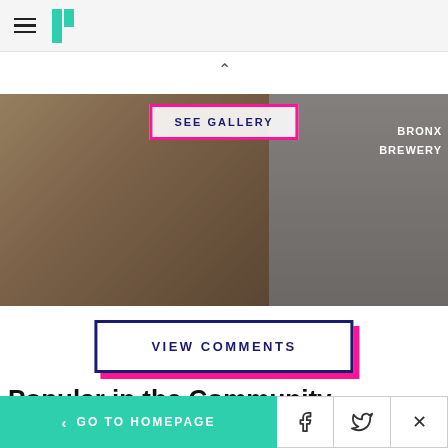HuffPost navigation header with hamburger menu and logo
[Figure (photo): Gallery image showing a person in a store/event setting with 'SEE GALLERY' overlay button and Bronx Brewery signage visible on the right]
SEE GALLERY
VIEW COMMENTS
Popular in the Community
< GO TO HOMEPAGE  [Facebook] [Twitter] [X]